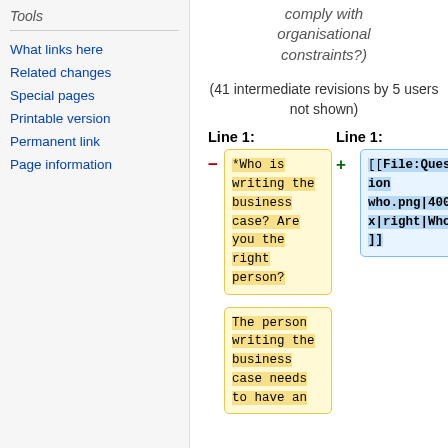Tools
What links here
Related changes
Special pages
Printable version
Permanent link
Page information
comply with organisational constraints?)
(41 intermediate revisions by 5 users not shown)
Line 1:
Line 1:
[Figure (other): Diff view showing two columns. Left column (yellow highlight, minus sign): *Who is writing the business case? Are you the right person? Right column (blue highlight, plus sign): [[File:Question who.png|400px|right|Who?]]]
The person writing the business case needs to have an